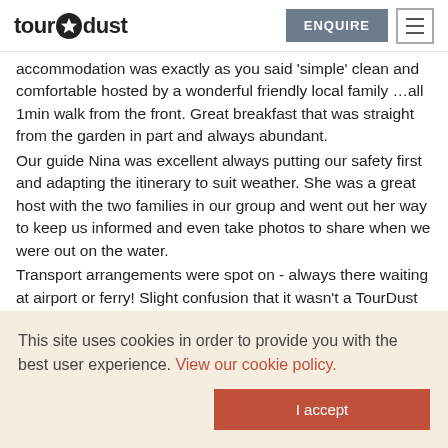tourdust | ENQUIRE | menu
accommodation was exactly as you said 'simple' clean and comfortable hosted by a wonderful friendly local family …all 1min walk from the front. Great breakfast that was straight from the garden in part and always abundant.
Our guide Nina was excellent always putting our safety first and adapting the itinerary to suit weather. She was a great host with the two families in our group and went out her way to keep us informed and even take photos to share when we were out on the water.
Transport arrangements were spot on - always there waiting at airport or ferry! Slight confusion that it wasn't a TourDust sign but that was quickly solved.
Kayaking was a great adventure and a challenge some days
This site uses cookies in order to provide you with the best user experience. View our cookie policy.
I accept